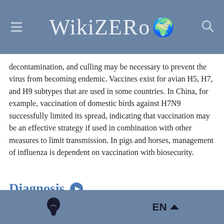WikiZero
decontamination, and culling may be necessary to prevent the virus from becoming endemic. Vaccines exist for avian H5, H7, and H9 subtypes that are used in some countries. In China, for example, vaccination of domestic birds against H7N9 successfully limited its spread, indicating that vaccination may be an effective strategy if used in combination with other measures to limit transmission. In pigs and horses, management of influenza is dependent on vaccination with biosecurity.
Diagnosis
[Figure (photo): X-ray image showing chest/thoracic region, black and white radiograph]
EN